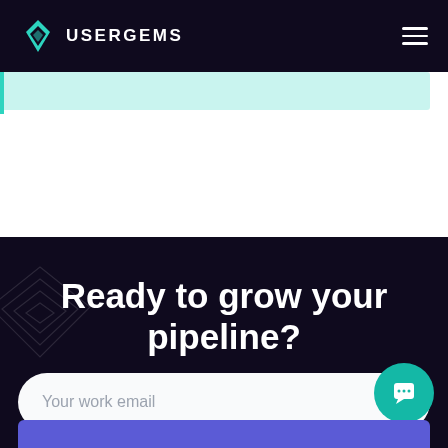USERGEMS
[Figure (screenshot): UserGems website screenshot showing navigation bar with teal diamond logo and hamburger menu, white content area with teal highlight bar, dark navy CTA section with 'Ready to grow your pipeline?' heading, an email input field, and a teal chat button.]
Ready to grow your pipeline?
Your work email